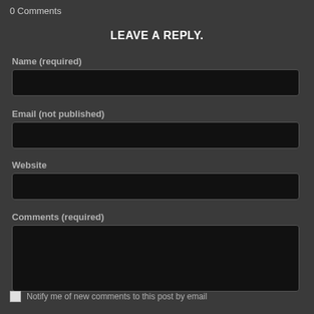0 Comments
LEAVE A REPLY.
Name (required)
Email (not published)
Website
Comments (required)
Notify me of new comments to this post by email